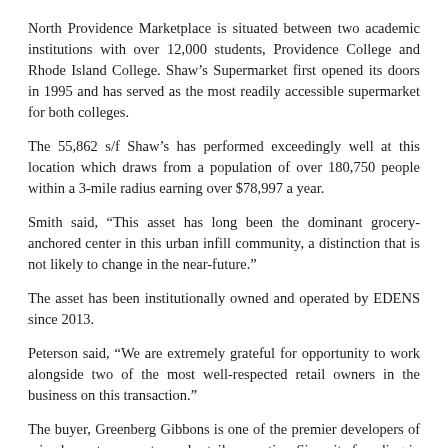North Providence Marketplace is situated between two academic institutions with over 12,000 students, Providence College and Rhode Island College. Shaw's Supermarket first opened its doors in 1995 and has served as the most readily accessible supermarket for both colleges.
The 55,862 s/f Shaw's has performed exceedingly well at this location which draws from a population of over 180,750 people within a 3-mile radius earning over $78,997 a year.
Smith said, “This asset has long been the dominant grocery-anchored center in this urban infill community, a distinction that is not likely to change in the near-future.”
The asset has been institutionally owned and operated by EDENS since 2013.
Peterson said, “We are extremely grateful for opportunity to work alongside two of the most well-respected retail owners in the business on this transaction.”
The buyer, Greenberg Gibbons is one of the premier developers of mixed-use, town center and retail properties. Since its founding in 1968, Greenberg Gibbons has built vibrant community assets and gathering places.